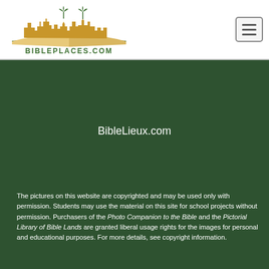[Figure (logo): BiblePlaces.com logo with gold/tan cityscape silhouette above an open book graphic, with the text BIBLEPLACES.COM beneath]
[Figure (other): Hamburger menu button (three horizontal lines) in a rounded rectangle]
BibleLieux.com
The pictures on this website are copyrighted and may be used only with permission. Students may use the material on this site for school projects without permission. Purchasers of the Photo Companion to the Bible and the Pictorial Library of Bible Lands are granted liberal usage rights for the images for personal and educational purposes. For more details, see copyright information.